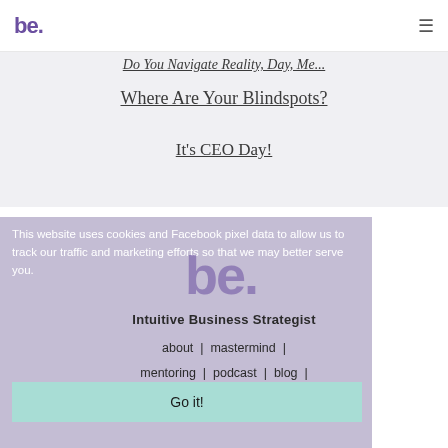be.
Do You Navigate Reality, Day, Me…
Where Are Your Blindspots?
It's CEO Day!
This website uses cookies and Facebook pixel data to allow us to track our traffic and marketing efforts so that we may better serve you.
[Figure (logo): be. Intuitive Business Strategist logo watermark]
Intuitive Business Strategist
about | mastermind | mentoring | podcast | blog | contact | media
Go it!